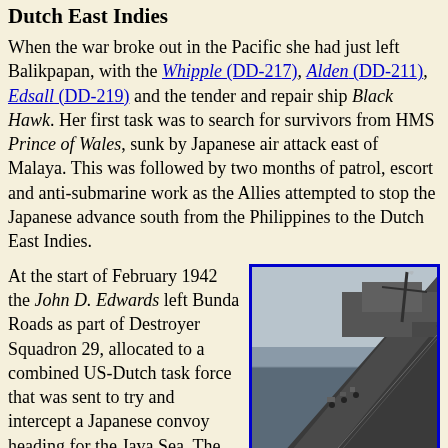Dutch East Indies
When the war broke out in the Pacific she had just left Balikpapan, with the Whipple (DD-217), Alden (DD-211), Edsall (DD-219) and the tender and repair ship Black Hawk. Her first task was to search for survivors from HMS Prince of Wales, sunk by Japanese air attack east of Malaya. This was followed by two months of patrol, escort and anti-submarine work as the Allies attempted to stop the Japanese advance south from the Philippines to the Dutch East Indies.
At the start of February 1942 the John D. Edwards left Bunda Roads as part of Destroyer Squadron 29, allocated to a combined US-Dutch task force that was sent to try and intercept a Japanese convoy heading for the Java Sea. The fleet was spotted by the Japanese late on 3 February, and attacked by Japanese bombers on 4 February (battle of the Makassar Strait). The Japanese attacks damaged the US cruisers
[Figure (photo): Black and white photograph of a US Navy destroyer ship, viewed from above at an angle, showing the deck, superstructure, and crew members visible on deck. The ship is underway at sea.]